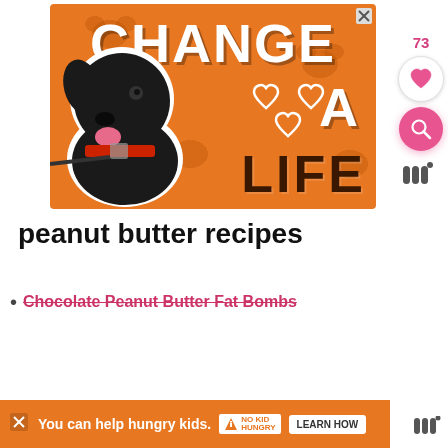[Figure (illustration): Orange advertisement banner with a black Labrador dog, white text reading 'CHANGE A LIFE' with heart outlines, and a close (X) button in the top right corner.]
peanut butter recipes
Chocolate Peanut Butter Fat Bombs
[Figure (screenshot): Bottom orange ad bar reading 'You can help hungry kids.' with No Kid Hungry logo and LEARN HOW button, plus a close X button and sidebar watermark logo.]